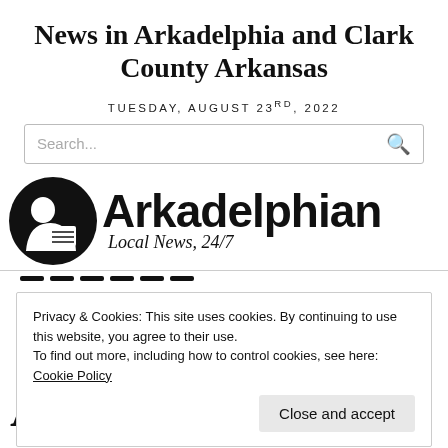News in Arkadelphia and Clark County Arkansas
TUESDAY, AUGUST 23RD, 2022
[Figure (logo): Arkadelphian Local News, 24/7 logo with circular black icon of a person reading a newspaper]
Privacy & Cookies: This site uses cookies. By continuing to use this website, you agree to their use.
To find out more, including how to control cookies, see here: Cookie Policy
Close and accept
Arkadelphia